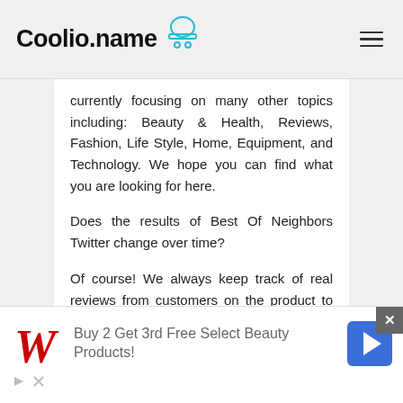Coolio.name
currently focusing on many other topics including: Beauty & Health, Reviews, Fashion, Life Style, Home, Equipment, and Technology. We hope you can find what you are looking for here.
Does the results of Best Of Neighbors Twitter change over time?
Of course! We always keep track of real reviews from customers on the product to filter the best answer for Best Of
[Figure (screenshot): Advertisement banner: Walgreens logo with text 'Buy 2 Get 3rd Free Select Beauty Products!' and a blue navigation arrow icon, with close and play/mute controls.]